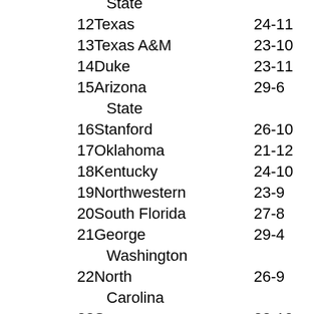| Rank/Team | Record | Points | Prev |
| --- | --- | --- | --- |
| State |  |  |  |
| 12Texas | 24-11 | 459NR |  |
| 13Texas A&M | 23-10 | 397 | 21 |
| 14Duke | 23-11 | 392 | 16 |
| 15Arizona State | 29-6 | 347 | 9 |
| 16Stanford | 26-10 | 338 | 14 |
| 17Oklahoma | 21-12 | 264NR |  |
| 18Kentucky | 24-10 | 241 | 11 |
| 19Northwestern | 23-9 | 209 | 22 |
| 20South Florida | 27-8 | 202 | 25 |
| 21George Washington | 29-4 | 171 | 19 |
| 22North Carolina | 26-9 | 94 | 15 |
| 23Syracuse | 22-10 | 74NR |  |
| 24Michigan State | 16-15 | 61NR |  |